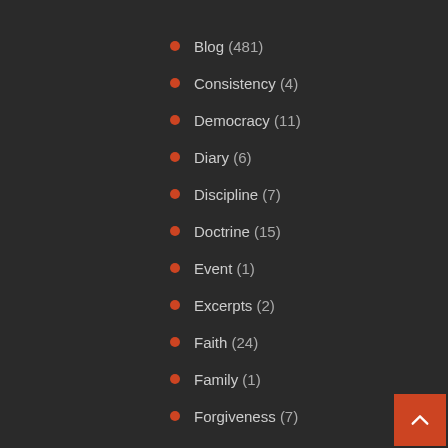Blog (481)
Consistency (4)
Democracy (11)
Diary (6)
Discipline (7)
Doctrine (15)
Event (1)
Excerpts (2)
Faith (24)
Family (1)
Forgiveness (7)
Gospel Music (1)
Growth (1)
Hardwork (1)
ICPMLW (1)
Jesus (1)
Judah (2)
Leadership (50)
Legacy (1)
Meditation (3)
Mentorship (32)
Ministry (8)
Music (1)
National Development (8)